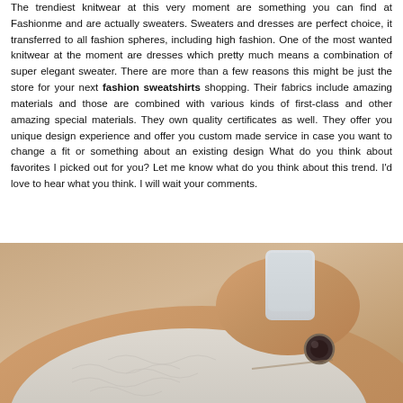The trendiest knitwear at this very moment are something you can find at Fashionme and are actually sweaters. Sweaters and dresses are perfect choice, it transferred to all fashion spheres, including high fashion. One of the most wanted knitwear at the moment are dresses which pretty much means a combination of super elegant sweater. There are more than a few reasons this might be just the store for your next fashion sweatshirts shopping. Their fabrics include amazing materials and those are combined with various kinds of first-class and other amazing special materials. They own quality certificates as well. They offer you unique design experience and offer you custom made service in case you want to change a fit or something about an existing design What do you think about favorites I picked out for you? Let me know what do you think about this trend. I'd love to hear what you think. I will wait your comments.
[Figure (photo): Close-up photo of a woman wearing a white/light grey knit sweater, holding a light-colored phone or cup, with a large decorative ring on her finger. The image is cropped to show mainly the shoulder, hand, and upper body area.]